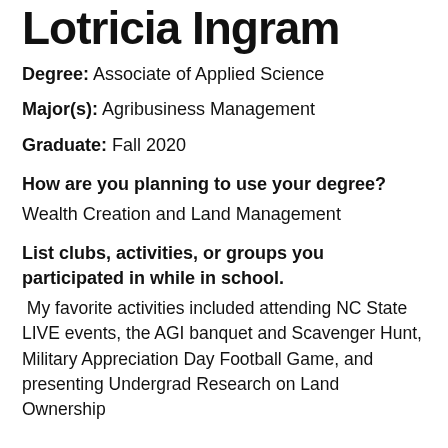Lotricia Ingram
Degree: Associate of Applied Science
Major(s): Agribusiness Management
Graduate: Fall 2020
How are you planning to use your degree?
Wealth Creation and Land Management
List clubs, activities, or groups you participated in while in school.
My favorite activities included attending NC State LIVE events, the AGI banquet and Scavenger Hunt, Military Appreciation Day Football Game, and presenting Undergrad Research on Land Ownership